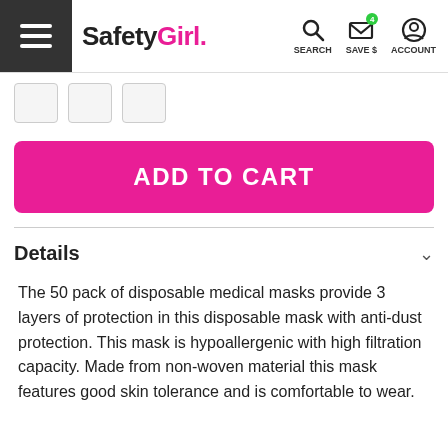SafetyGirl. SEARCH SAVE $ ACCOUNT
ADD TO CART
Details
The 50 pack of disposable medical masks provide 3 layers of protection in this disposable mask with anti-dust protection. This mask is hypoallergenic with high filtration capacity. Made from non-woven material this mask features good skin tolerance and is comfortable to wear.